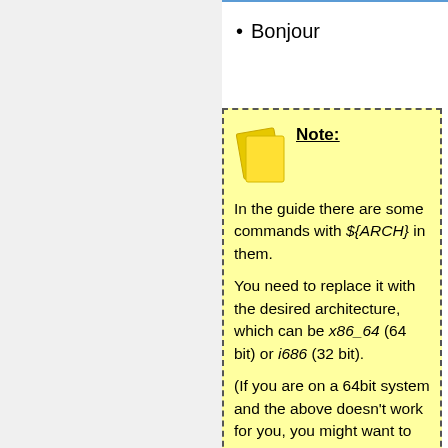Bonjour
Note: In the guide there are some commands with ${ARCH} in them.

You need to replace it with the desired architecture, which can be x86_64 (64 bit) or i686 (32 bit).

(If you are on a 64bit system and the above doesn't work for you, you might want to try x86-64 (with a